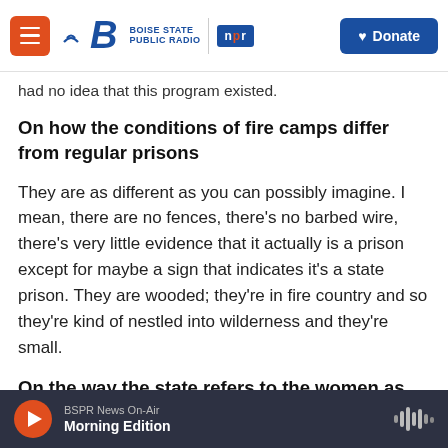Boise State Public Radio | NPR | Donate
had no idea that this program existed.
On how the conditions of fire camps differ from regular prisons
They are as different as you can possibly imagine. I mean, there are no fences, there's no barbed wire, there's very little evidence that it actually is a prison except for maybe a sign that indicates it's a state prison. They are wooded; they're in fire country and so they're kind of nestled into wilderness and they're small.
On the way the state refers to the women as
BSPR News On-Air  Morning Edition